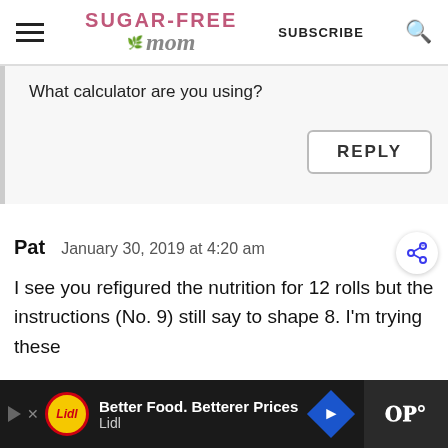Sugar-Free Mom | SUBSCRIBE
What calculator are you using?
REPLY
Pat   January 30, 2019 at 4:20 am
I see you refigured the nutrition for 12 rolls but the instructions (No. 9) still say to shape 8. I'm trying these
[Figure (other): Lidl advertisement bar: Better Food. Betterer Prices - Lidl]
Better Food. Betterer Prices - Lidl